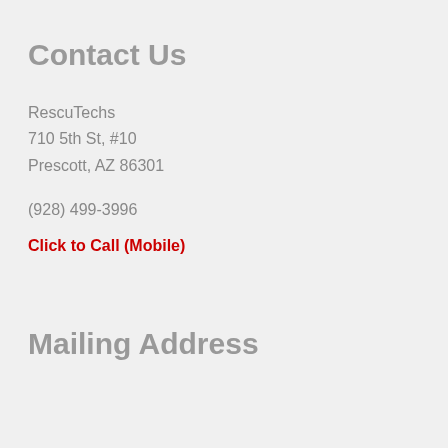Contact Us
RescuTechs
710 5th St, #10
Prescott, AZ 86301
(928) 499-3996
Click to Call (Mobile)
Mailing Address